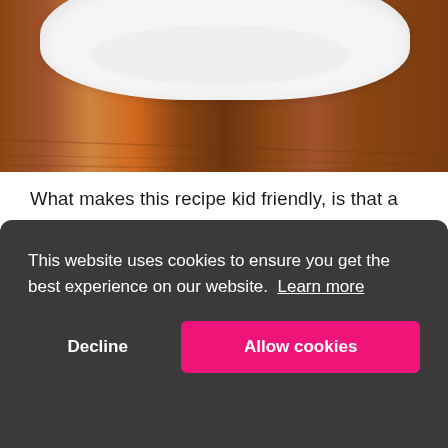[Figure (photo): Close-up photo of a white plate or bowl with cream/white frosting or dip on a wooden surface, viewed from above, showing the top portion of the plate.]
What makes this recipe kid friendly, is that a lot of the mixing goes on in a mess-free ziploc bag.  Also, this is a very simple recipe, with no eggs, yet it's delicious.
This website uses cookies to ensure you get the best experience on our website. Learn more
Decline
Allow cookies